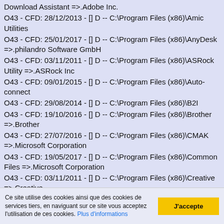Download Assistant =>.Adobe Inc.
O43 - CFD: 28/12/2013 - [] D -- C:\Program Files (x86)\Amic Utilities
O43 - CFD: 25/01/2017 - [] D -- C:\Program Files (x86)\AnyDesk =>.philandro Software GmbH
O43 - CFD: 03/11/2011 - [] D -- C:\Program Files (x86)\ASRock Utility =>.ASRock Inc
O43 - CFD: 09/01/2015 - [] D -- C:\Program Files (x86)\Auto-connect
O43 - CFD: 29/08/2014 - [] D -- C:\Program Files (x86)\B2I
O43 - CFD: 19/10/2016 - [] D -- C:\Program Files (x86)\Brother =>.Brother
O43 - CFD: 27/07/2016 - [] D -- C:\Program Files (x86)\CMAK =>.Microsoft Corporation
O43 - CFD: 19/05/2017 - [] D -- C:\Program Files (x86)\Common Files =>.Microsoft Corporation
O43 - CFD: 03/11/2011 - [] D -- C:\Program Files (x86)\Creative =>.Creative
O43 - CFD: 03/11/2011 - [] HD -- C:\Program Files (x86)\Creative Installation Information =>.InstallShield Software
Ce site utilise des cookies ainsi que des cookies de services tiers, en naviguant sur ce site vous acceptez l'utilisation de ces cookies. Plus d'informations
J'accepte